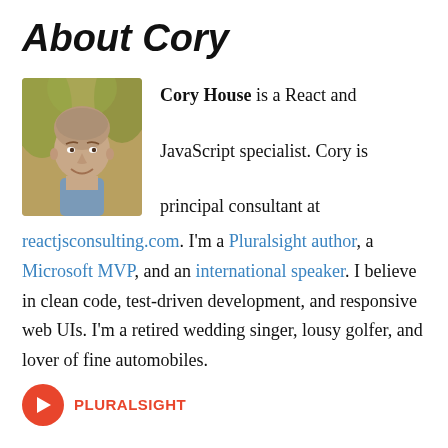About Cory
[Figure (photo): Portrait photo of Cory House, a smiling bald man with short stubble, wearing a grey shirt, outdoors with blurred foliage background]
Cory House is a React and JavaScript specialist. Cory is principal consultant at reactjsconsulting.com. I'm a Pluralsight author, a Microsoft MVP, and an international speaker. I believe in clean code, test-driven development, and responsive web UIs. I'm a retired wedding singer, lousy golfer, and lover of fine automobiles.
[Figure (logo): Pluralsight logo badge - red circle with arrow icon and PLURALSIGHT text]